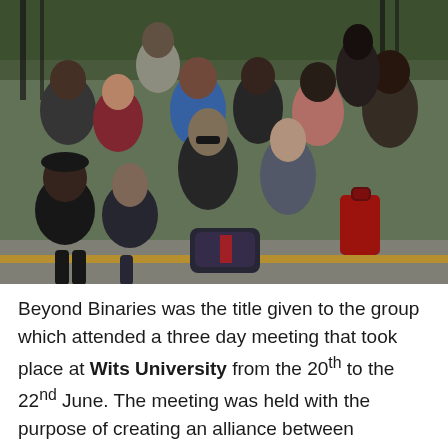[Figure (photo): Group photo of approximately 13-14 people posing together outdoors in front of a gate/fence. Some people are sitting on the ground in the front row, others standing behind. They are dressed in casual winter clothing. The photo is taken on a street or courtyard. This is the 'Beyond Binaries' group that attended a meeting at Wits University.]
Beyond Binaries was the title given to the group which attended a three day meeting that took place at Wits University from the 20th to the 22nd June. The meeting was held with the purpose of creating an alliance between Southern countries, and saw a merging of minds and